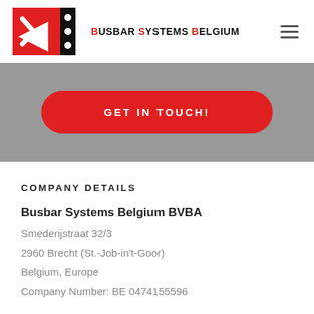[Figure (logo): Busbar Systems Belgium logo with red square containing stylized B, black strip with white dots, and bold brand name text]
GET IN TOUCH!
COMPANY DETAILS
Busbar Systems Belgium BVBA
Smederijstraat 32/3
2960 Brecht (St.-Job-in't-Goor)
Belgium, Europe
Company Number: BE 0474155596